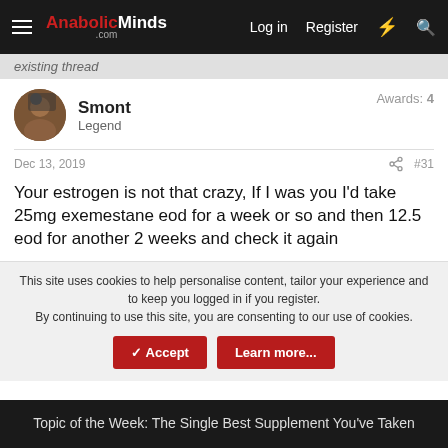AnabolicMinds.com — Log in   Register
existing thread
Smont
Legend
Awards: 4
Dec 13, 2019   #31
Your estrogen is not that crazy, If I was you I'd take 25mg exemestane eod for a week or so and then 12.5 eod for another 2 weeks and check it again
This site uses cookies to help personalise content, tailor your experience and to keep you logged in if you register.
By continuing to use this site, you are consenting to our use of cookies.
[Accept] [Learn more...]
Topic of the Week: The Single Best Supplement You've Taken